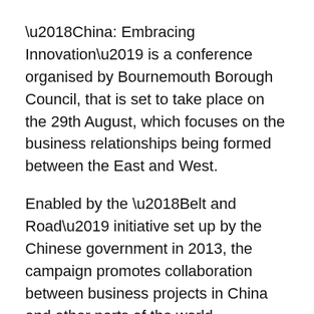‘China: Embracing Innovation’ is a conference organised by Bournemouth Borough Council, that is set to take place on the 29th August, which focuses on the business relationships being formed between the East and West.
Enabled by the ‘Belt and Road’ initiative set up by the Chinese government in 2013, the campaign promotes collaboration between business projects in China and other parts of the world.
With strong connections between China and the UK, Crowd’s MD, Jamie Sergeant, has been invited to share his expertise of international business at the conference. He will be discussing the opportunities to boost trade and economic growth through collaborating with organisations in China.
As well as his own experience working within this